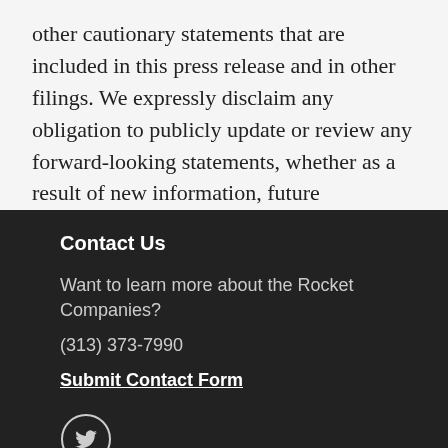other cautionary statements that are included in this press release and in other filings. We expressly disclaim any obligation to publicly update or review any forward-looking statements, whether as a result of new information, future developments or otherwise, except as required by applicable law.
Contact Us
Want to learn more about the Rocket Companies?
(313) 373-7990
Submit Contact Form
[Figure (logo): Twitter bird logo icon in a circle, white outline on dark background]